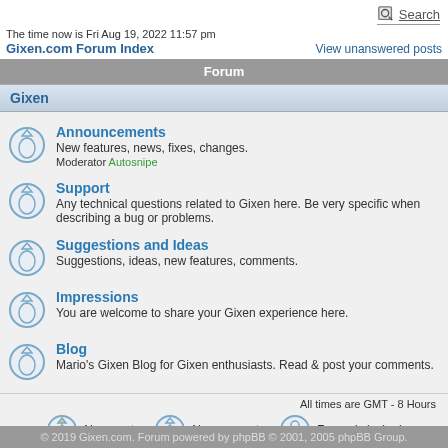Search
The time now is Fri Aug 19, 2022 11:57 pm
Gixen.com Forum Index   View unanswered posts
Forum
Gixen
Announcements - New features, news, fixes, changes. Moderator Autosnipe
Support - Any technical questions related to Gixen here. Be very specific when describing a bug or problems.
Suggestions and Ideas - Suggestions, ideas, new features, comments.
Impressions - You are welcome to share your Gixen experience here.
Blog - Mario's Gixen Blog for Gixen enthusiasts. Read & post your comments.
All times are GMT - 8 Hours
New posts   No new posts   Forum is locked
© 2019 Gixen.com. Forum powered by phpBB © 2001, 2005 phpBB Group.